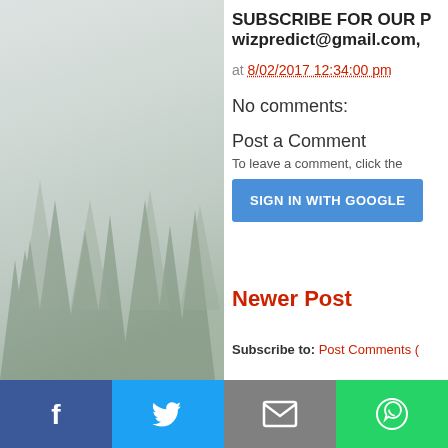[Figure (photo): Foggy landscape background with tree silhouettes on the left side of the page]
SUBSCRIBE FOR OUR P wizpredict@gmail.com,
at 8/02/2017 12:34:00 pm
No comments:
Post a Comment
To leave a comment, click the
SIGN IN WITH GOOGLE
Newer Post
Subscribe to: Post Comments (
[Figure (other): Social media sharing bar with Facebook, Twitter, email, and WhatsApp buttons at the bottom]